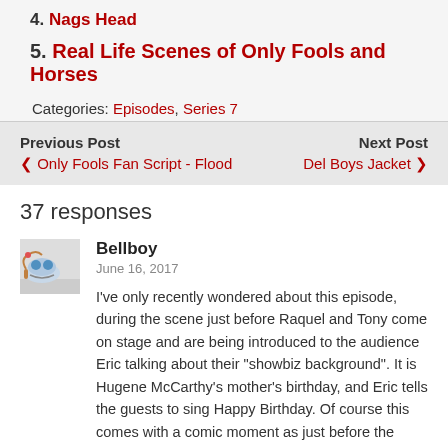4. Nags Head
5. Real Life Scenes of Only Fools and Horses
Categories: Episodes, Series 7
Previous Post
❮ Only Fools Fan Script - Flood
Next Post
Del Boys Jacket ❯
37 responses
Bellboy
June 16, 2017
I've only recently wondered about this episode, during the scene just before Raquel and Tony come on stage and are being introduced to the audience Eric talking about their "showbiz background". It is Hugene McCarthy's mother's birthday, and Eric tells the guests to sing Happy Birthday. Of course this comes with a comic moment as just before the words "happy birthday dear (insert name), happy birthday to you" are expected to be sung, the